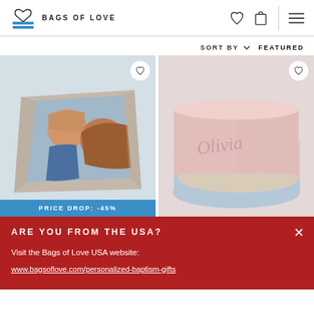BAGS OF LOVE
SORT BY  FEATURED
[Figure (photo): Photo blanket product showing a mother and child printed on a folded blanket, with PRICE DROP: -45% badge]
[Figure (photo): Soft personalized blanket with name Olivia embroidered, shown in pink and blue layers]
PRICE DROP: -45%
ARE YOU FROM THE USA?
Visit the Bags of Love USA website:
www.bagsoflove.com/personalized-baptism-gifts